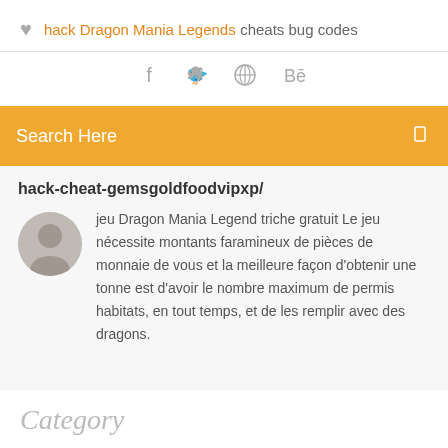hack Dragon Mania Legends cheats bug codes
[Figure (infographic): Social media icons: Facebook (f), Twitter bird, a circular icon, and Behance (Be) in gray]
Search Here
hack-cheat-gemsgoldfoodvipxp/
[Figure (photo): Circular avatar photo of a man]
jeu Dragon Mania Legend triche gratuit Le jeu nécessite montants faramineux de pièces de monnaie de vous et la meilleure façon d'obtenir une tonne est d'avoir le nombre maximum de permis habitats, en tout temps, et de les remplir avec des dragons.
Category